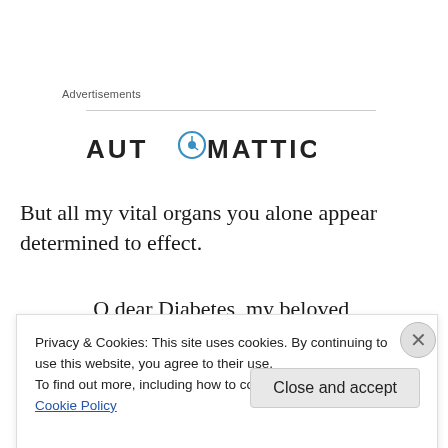Advertisements
[Figure (logo): Automattic logo — company name in dark grey/black letters with a compass/clock icon replacing the letter O in AUTOMATTIC]
But all my vital organs you alone appear determined to effect.
O dear Diabetes, my beloved,
Privacy & Cookies: This site uses cookies. By continuing to use this website, you agree to their use.
To find out more, including how to control cookies, see here: Cookie Policy
Close and accept